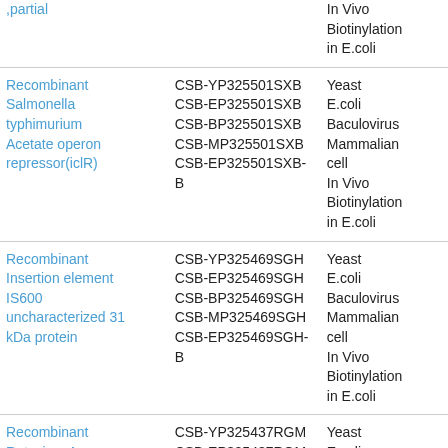| Product Name | Catalog Number | Expression System |
| --- | --- | --- |
| ,partial |  | In Vivo Biotinylation in E.coli |
| Recombinant Salmonella typhimurium Acetate operon repressor(iclR) | CSB-YP325501SXB
CSB-EP325501SXB
CSB-BP325501SXB
CSB-MP325501SXB
CSB-EP325501SXB-B | Yeast
E.coli
Baculovirus
Mammalian cell
In Vivo Biotinylation in E.coli |
| Recombinant Insertion element IS600 uncharacterized 31 kDa protein | CSB-YP325469SGH
CSB-EP325469SGH
CSB-BP325469SGH
CSB-MP325469SGH
CSB-EP325469SGH-B | Yeast
E.coli
Baculovirus
Mammalian cell
In Vivo Biotinylation in E.coli |
| Recombinant Rotavirus A Intermediate capsid protein VP6 | CSB-YP325437RGM
CSB-EP325437RGM
CSB-BP325437RGM
CSB-MP325437RGM
CSB-EP325437RGM-B | Yeast
E.coli
Baculovirus
Mammalian cell |